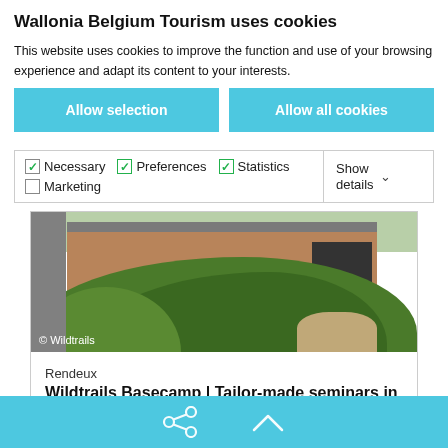Wallonia Belgium Tourism uses cookies
This website uses cookies to improve the function and use of your browsing experience and adapt its content to your interests.
Allow selection
Allow all cookies
Necessary  Preferences  Statistics  Marketing  Show details
[Figure (photo): Outdoor photo of a wooden building with green grass mounds and a path. Caption: © Wildtrails]
Rendeux
Wildtrails Basecamp | Tailor-made seminars in the Belgian Ardennes